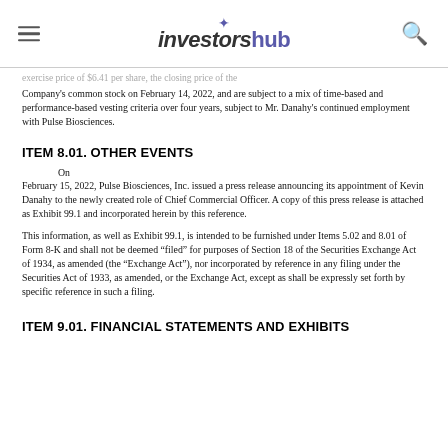investorshub
exercise price of $6.41 per share, the closing price of the Company's common stock on February 14, 2022, and are subject to a mix of time-based and performance-based vesting criteria over four years, subject to Mr. Danahy's continued employment with Pulse Biosciences.
ITEM 8.01. OTHER EVENTS
On February 15, 2022, Pulse Biosciences, Inc. issued a press release announcing its appointment of Kevin Danahy to the newly created role of Chief Commercial Officer. A copy of this press release is attached as Exhibit 99.1 and incorporated herein by this reference.
This information, as well as Exhibit 99.1, is intended to be furnished under Items 5.02 and 8.01 of Form 8-K and shall not be deemed “filed” for purposes of Section 18 of the Securities Exchange Act of 1934, as amended (the “Exchange Act”), nor incorporated by reference in any filing under the Securities Act of 1933, as amended, or the Exchange Act, except as shall be expressly set forth by specific reference in such a filing.
ITEM 9.01. FINANCIAL STATEMENTS AND EXHIBITS